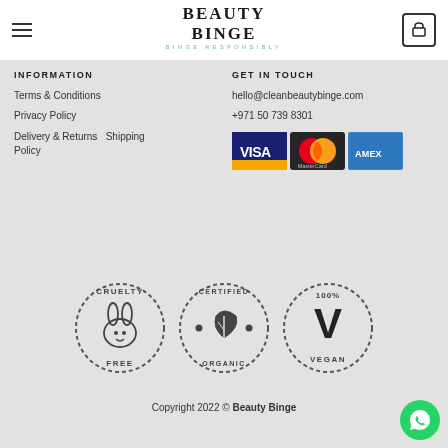BEAUTY BINGE — BINGE RESPONSIBLY
INFORMATION
Terms & Conditions
Privacy Policy
Delivery & Returns  Shipping Policy
GET IN TOUCH
hello@cleanbeautybinge.com
+971 50 739 8301
[Figure (logo): Payment method logos: VISA, MasterCard, American Express]
[Figure (logo): Three certification badges: Cruelty Free (rabbit icon), Certified Organic (leaf icon), 100% Vegan (V checkmark)]
Copyright 2022 © Beauty Binge